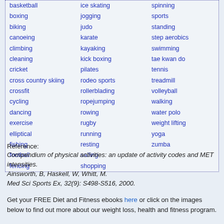| basketball | ice skating | spinning |
| boxing | jogging | sports |
| biking | judo | standing |
| canoeing | karate | step aerobics |
| climbing | kayaking | swimming |
| cleaning | kick boxing | tae kwan do |
| cricket | pilates | tennis |
| cross country skiing | rodeo sports | treadmill |
| crossfit | rollerblading | volleyball |
| cycling | ropejumping | walking |
| dancing | rowing | water polo |
| exercise | rugby | weight lifting |
| elliptical | running | yoga |
| fishing | resting | zumba |
| football | sailing |  |
| fencing | shopping |  |
Reference:
Compendium of physical activities: an update of activity codes and MET intensities.
Ainsworth, B, Haskell, W, Whitt, M.
Med Sci Sports Ex, 32(9): S498-S516, 2000.
Get your FREE Diet and Fitness ebooks here or click on the images below to find out more about our weight loss, health and fitness program.